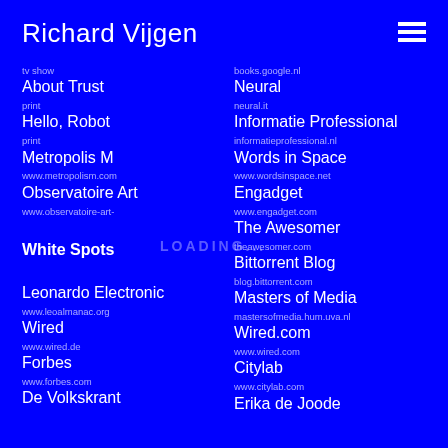Richard Vijgen
tv show
About Trust
print
Hello, Robot
print
Metropolis M
www.metropolism.com
Observatoire Art
www.observatoire-art-
White Spots
Leonardo Electronic
www.leoalmanac.org
Wired
www.wired.de
Forbes
www.forbes.com
De Volkskrant
books.google.nl
Neural
neural.it
Informatie Professional
informatieprofessional.nl
Words in Space
www.wordsinspace.net
Engadget
www.engadget.com
The Awesomer
theawesomer.com
Bittorrent Blog
blog.bittorrent.com
Masters of Media
mastersofmedia.hum.uva.nl
Wired.com
www.wired.com
Citylab
www.citylab.com
Erika de Joode